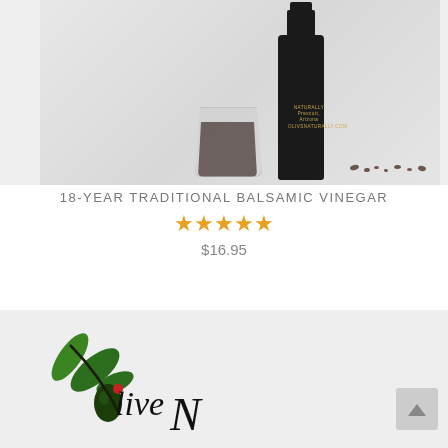[Figure (photo): Product photo of 18-year traditional balsamic vinegar: dark glass bottle with gold lettering reading 'NATURALLY', 'Prescott, Arizona', 'OLIVSNATURALLY.COM', next to a small glass filled with dark liquid, and several coffee beans/droplets scattered on a light surface]
18-YEAR TRADITIONAL BALSAMIC VINEGAR
★★★★★
$16.95
[Figure (logo): Olive branch logo with cursive script reading 'Live N' with olive and red accent, green leaves on a light gray background — partial company logo]